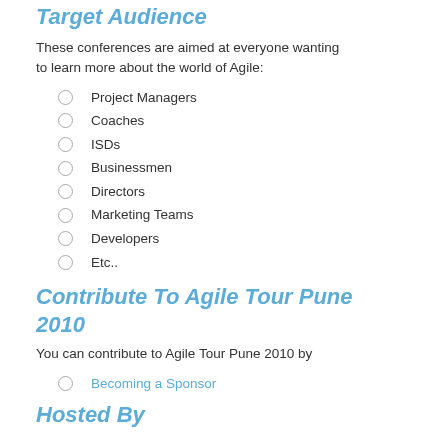Target Audience
These conferences are aimed at everyone wanting to learn more about the world of Agile:
Project Managers
Coaches
ISDs
Businessmen
Directors
Marketing Teams
Developers
Etc..
Contribute To Agile Tour Pune 2010
You can contribute to Agile Tour Pune 2010 by
Becoming a Sponsor
Hosted By